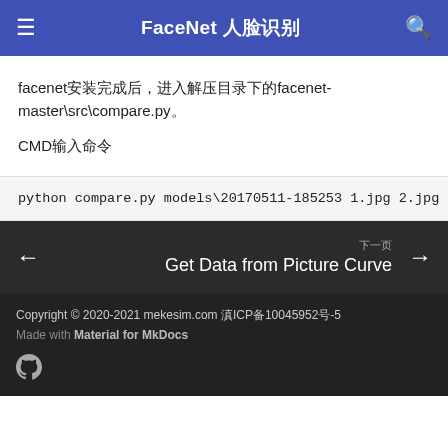FaceNet 人脸识别
facenet安装完成后，进入解压目录下的facenet-master\src\compare.py。
CMD输入命令
python compare.py models\20170511-185253 1.jpg 2.jpg
下一页
Get Data from Picture Curve
Copyright © 2020-2021 mekesim.com 滇ICP备10045952号-5
Made with Material for MkDocs